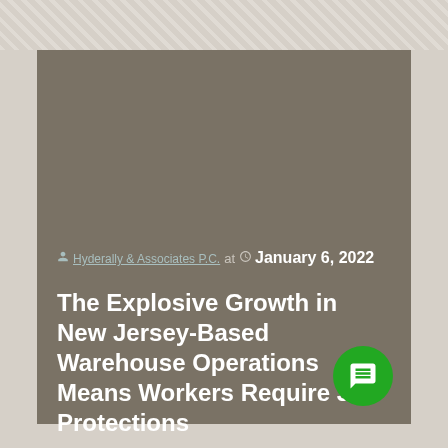Hyderally & Associates P.C. at January 6, 2022
The Explosive Growth in New Jersey-Based Warehouse Operations Means Workers Require Job Protections